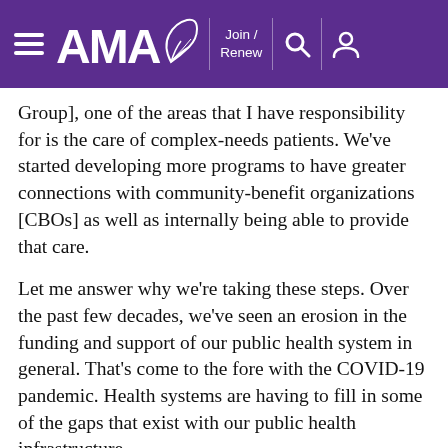AMA — Join / Renew
Group], one of the areas that I have responsibility for is the care of complex-needs patients. We've started developing more programs to have greater connections with community-benefit organizations [CBOs] as well as internally being able to provide that care.
Let me answer why we're taking these steps. Over the past few decades, we've seen an erosion in the funding and support of our public health system in general. That's come to the fore with the COVID-19 pandemic. Health systems are having to fill in some of the gaps that exist with our public health infrastructure.